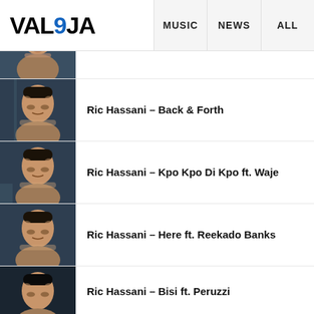VAL9JA | MUSIC | NEWS | ALL
[Figure (photo): Partial thumbnail of Ric Hassani album art – dark portrait, cropped at top]
[Figure (photo): Thumbnail of Ric Hassani album art – young person with eyes closed against dark blue background]
Ric Hassani – Back & Forth
[Figure (photo): Thumbnail of Ric Hassani album art – young person with eyes closed against dark blue background]
Ric Hassani – Kpo Kpo Di Kpo ft. Waje
[Figure (photo): Thumbnail of Ric Hassani album art – young person with eyes closed against dark blue background]
Ric Hassani – Here ft. Reekado Banks
[Figure (photo): Thumbnail of Ric Hassani album art – young person with eyes closed, partial view at bottom]
Ric Hassani – Bisi ft. Peruzzi